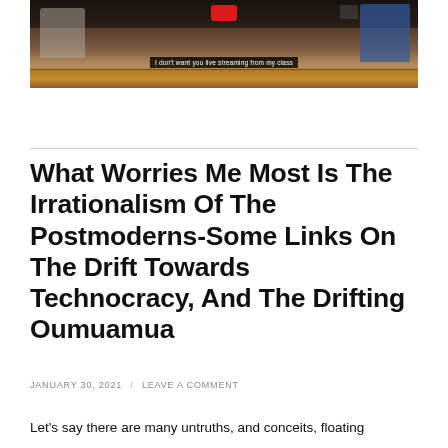[Figure (screenshot): Video screenshot of a classroom scene with people sitting at desks. A subtitle reads 'I don't want you live streaming from my class'. A red live button is visible at the top.]
What Worries Me Most Is The Irrationalism Of The Postmoderns-Some Links On The Drift Towards Technocracy, And The Drifting Oumuamua
JANUARY 30, 2021 / LEAVE A COMMENT
Let's say there are many untruths, and conceits, floating